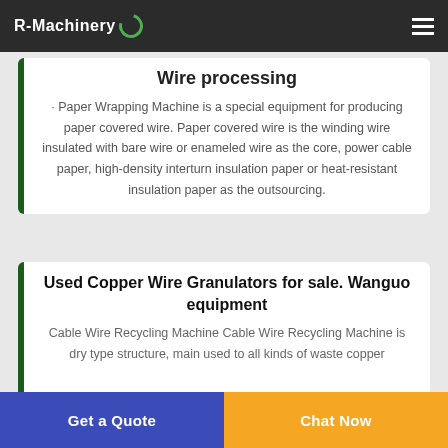R-Machinery
Wire processing
· Paper Wrapping Machine is a special equipment for producing paper covered wire. Paper covered wire is the winding wire insulated with bare wire or enameled wire as the core, power cable paper, high-density interturn insulation paper or heat-resistant insulation paper as the outsourcing.
Used Copper Wire Granulators for sale. Wanguo equipment
Cable Wire Recycling Machine Cable Wire Recycling Machine is dry type structure, main used to all kinds of waste copper